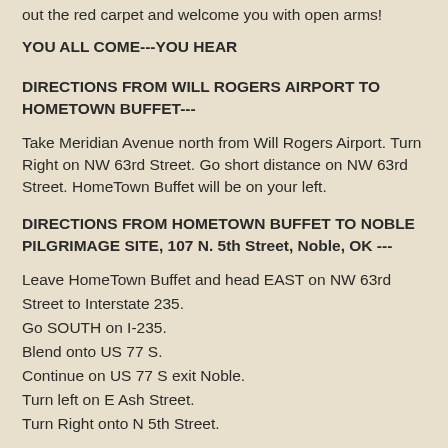out the red carpet and welcome you with open arms!
YOU ALL COME---YOU HEAR
DIRECTIONS FROM WILL ROGERS AIRPORT TO HOMETOWN BUFFET---
Take Meridian Avenue north from Will Rogers Airport. Turn Right on NW 63rd Street. Go short distance on NW 63rd Street. HomeTown Buffet will be on your left.
DIRECTIONS FROM HOMETOWN BUFFET TO NOBLE PILGRIMAGE SITE, 107 N. 5th Street, Noble, OK ---
Leave HomeTown Buffet and head EAST on NW 63rd Street to Interstate 235.
Go SOUTH on I-235.
Blend onto US 77 S.
Continue on US 77 S exit Noble.
Turn left on E Ash Street.
Turn Right onto N 5th Street.